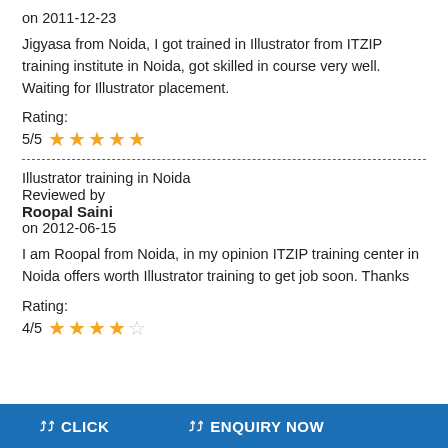on 2011-12-23
Jigyasa from Noida, I got trained in Illustrator from ITZIP training institute in Noida, got skilled in course very well. Waiting for Illustrator placement.
Rating:
5/5 ★★★★★
Illustrator training in Noida
Reviewed by
Roopal Saini
on 2012-06-15
I am Roopal from Noida, in my opinion ITZIP training center in Noida offers worth Illustrator training to get job soon. Thanks
Rating:
4/5 ★★★★☆
CLICK   ENQUIRY NOW